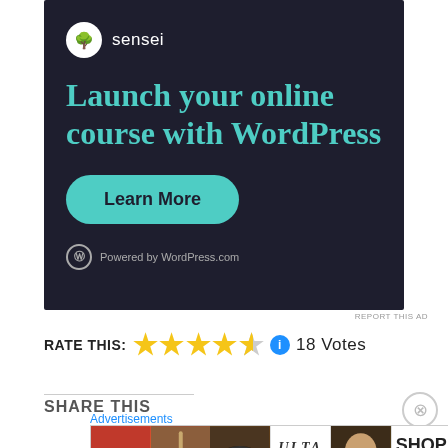[Figure (screenshot): Sensei advertisement banner with dark background. Shows Sensei logo (bonsai tree icon in white circle) with 'sensei' text, headline 'Launch your online course with WordPress' in teal/cyan color, a teal rounded 'Learn More' button, and 'Powered by WordPress.com' footer text with WordPress logo.]
REPORT THIS AD
RATE THIS: ★★★★½ ℹ 18 Votes
SHARE THIS
[Figure (screenshot): Bottom advertisement strip showing ULTA beauty ads with images of lips, makeup brush, eye makeup, ULTA logo, model with smoky eye, and SHOP NOW text.]